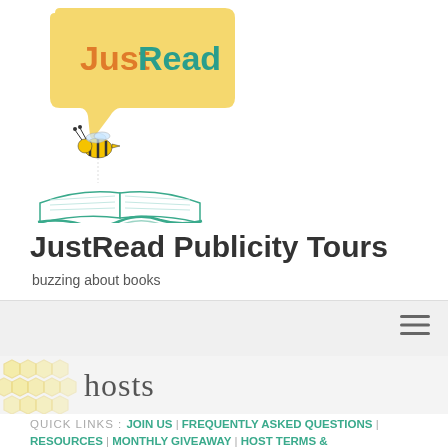[Figure (logo): JustRead Publicity Tours logo: a yellow speech bubble with 'JustRead' text (Just in orange, Read in teal), a cartoon bee below, and an open book with teal pages at the bottom]
JustRead Publicity Tours
buzzing about books
[Figure (infographic): Light grey navigation bar with hamburger menu icon on the right]
hosts
QUICK LINKS : JOIN US | FREQUENTLY ASKED QUESTIONS | RESOURCES | MONTHLY GIVEAWAY | HOST TERMS & CONDITIONS